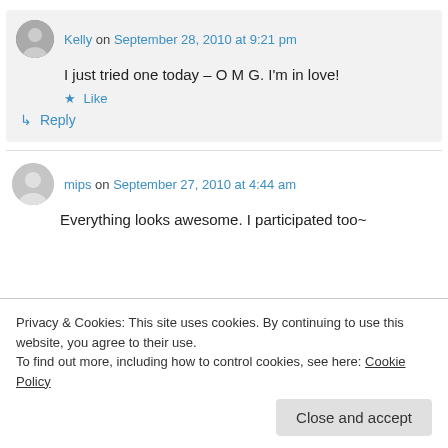Kelly on September 28, 2010 at 9:21 pm
I just tried one today – O M G. I'm in love!
★ Like
↳ Reply
mips on September 27, 2010 at 4:44 am
Everything looks awesome. I participated too~
Privacy & Cookies: This site uses cookies. By continuing to use this website, you agree to their use.
To find out more, including how to control cookies, see here: Cookie Policy
Close and accept